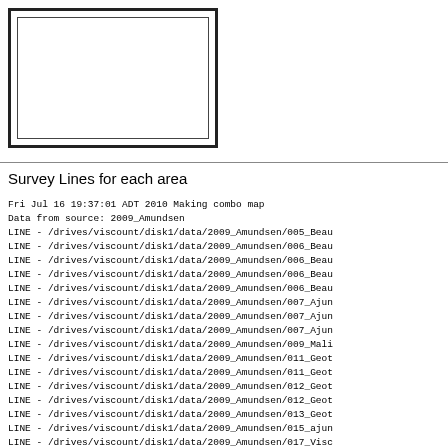[Figure (other): Empty bordered box representing a map placeholder]
Survey Lines for each area
Fri Jul 16 19:37:01 ADT 2010 Making combo map
Data from source: 2009_Amundsen
LINE - /drives/viscount/disk1/data/2009_Amundsen/005_Beau
LINE - /drives/viscount/disk1/data/2009_Amundsen/006_Beau
LINE - /drives/viscount/disk1/data/2009_Amundsen/006_Beau
LINE - /drives/viscount/disk1/data/2009_Amundsen/006_Beau
LINE - /drives/viscount/disk1/data/2009_Amundsen/006_Beau
LINE - /drives/viscount/disk1/data/2009_Amundsen/007_Ajun
LINE - /drives/viscount/disk1/data/2009_Amundsen/007_Ajun
LINE - /drives/viscount/disk1/data/2009_Amundsen/007_Ajun
LINE - /drives/viscount/disk1/data/2009_Amundsen/009_Mali
LINE - /drives/viscount/disk1/data/2009_Amundsen/011_Geot
LINE - /drives/viscount/disk1/data/2009_Amundsen/011_Geot
LINE - /drives/viscount/disk1/data/2009_Amundsen/012_Geot
LINE - /drives/viscount/disk1/data/2009_Amundsen/012_Geot
LINE - /drives/viscount/disk1/data/2009_Amundsen/013_Geot
LINE - /drives/viscount/disk1/data/2009_Amundsen/015_ajun
LINE - /drives/viscount/disk1/data/2009_Amundsen/017_Visc
LINE - /drives/viscount/disk1/data/2009_Amundsen/017_Visc
LINE - /drives/viscount/disk1/data/2009_Amundsen/017_Visc
LINE - /drives/viscount/disk1/data/2009_Amundsen/018_Baft